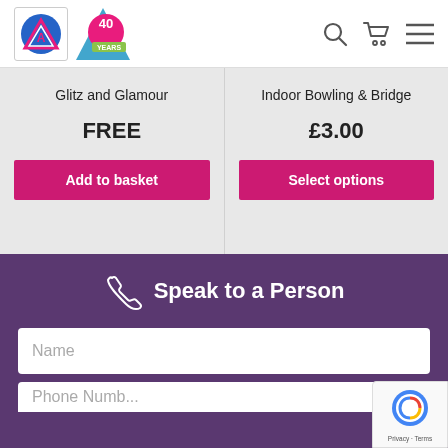[Figure (logo): Website header with logo (triangle logo in box and 40 Years logo), search icon, cart icon, and hamburger menu icon]
Glitz and Glamour
Indoor Bowling & Bridge
FREE
£3.00
Add to basket
Select options
Speak to a Person
Name
Phone Number